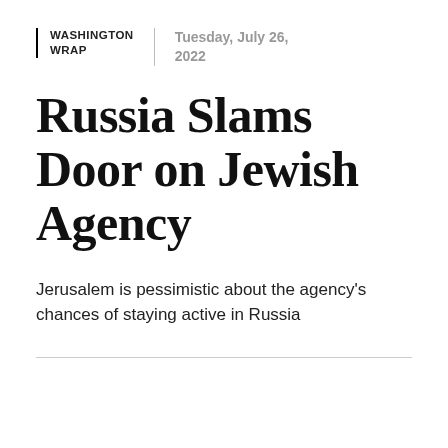WASHINGTON WRAP
Tuesday, July 26, 2022
Russia Slams Door on Jewish Agency
Jerusalem is pessimistic about the agency's chances of staying active in Russia